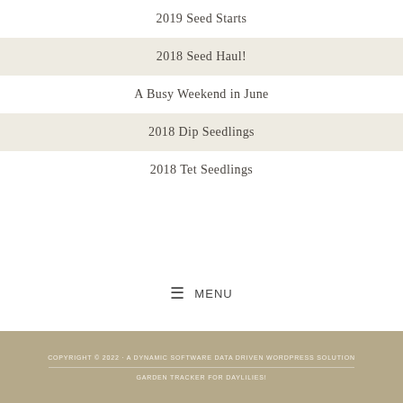2019 Seed Starts
2018 Seed Haul!
A Busy Weekend in June
2018 Dip Seedlings
2018 Tet Seedlings
☰ MENU
COPYRIGHT © 2022 · A DYNAMIC SOFTWARE DATA DRIVEN WORDPRESS SOLUTION
GARDEN TRACKER FOR DAYLILIES!